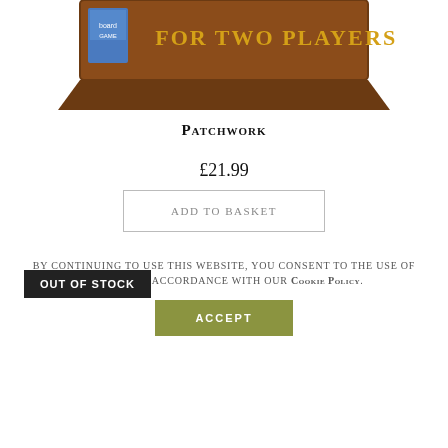[Figure (photo): Partial view of a board game box top with brown background and text 'FOR TWO PLAYERS']
Patchwork
£21.99
Add to basket
[Figure (photo): Green board game box with '12+ PARTY GAME' label and dark text, with 'OUT OF STOCK' badge overlay]
By continuing to use this website, you consent to the use of cookies in accordance with our Cookie Policy.
Accept